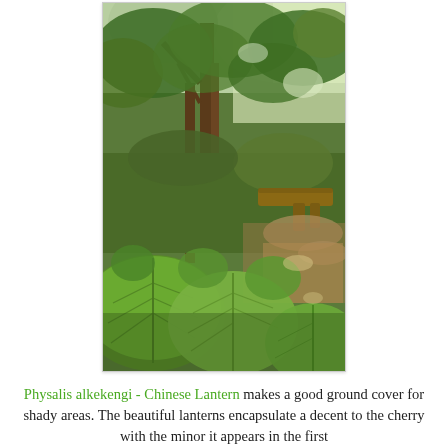[Figure (photo): A shaded garden scene with large broad-leafed plants (Physalis alkekengi / Chinese Lantern) in the foreground, trees with lush green canopy in the background, and a wooden bench or log seat visible in the middle-right area. Dappled sunlight filters through the tree canopy.]
Physalis alkekengi - Chinese Lantern makes a good ground cover for shady areas. The beautiful lanterns encapsulate a decent to the cherry with the minor it appears in the first